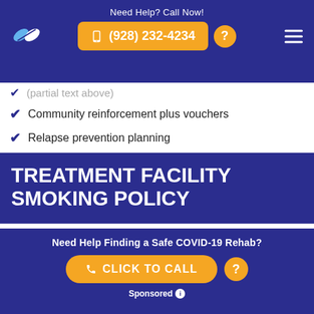Need Help? Call Now! (928) 232-4234
Community reinforcement plus vouchers
Relapse prevention planning
TREATMENT FACILITY SMOKING POLICY
Smoking is allowed in certain areas
Need Help Finding a Safe COVID-19 Rehab? CLICK TO CALL Sponsored